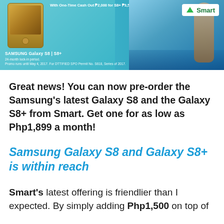[Figure (photo): Samsung Galaxy S8 and S8+ advertisement banner with Smart telecom logo. Shows Samsung phone, a figure near water, teal/blue background with promotional text about 24-month lock-in period.]
Great news! You can now pre-order the Samsung's latest Galaxy S8 and the Galaxy S8+ from Smart. Get one for as low as Php1,899 a month!
Samsung Galaxy S8 and Galaxy S8+ is within reach
Smart's latest offering is friendlier than I expected. By simply adding Php1,500 on top of